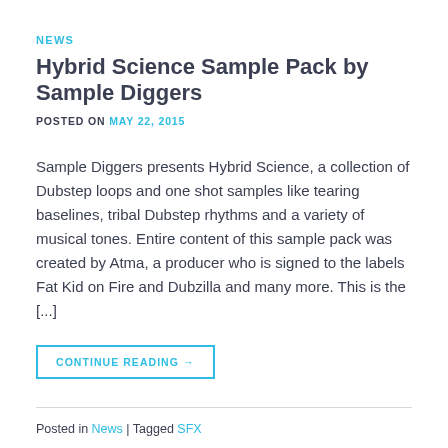NEWS
Hybrid Science Sample Pack by Sample Diggers
POSTED ON MAY 22, 2015
Sample Diggers presents Hybrid Science, a collection of Dubstep loops and one shot samples like tearing baselines, tribal Dubstep rhythms and a variety of musical tones. Entire content of this sample pack was created by Atma, a producer who is signed to the labels Fat Kid on Fire and Dubzilla and many more. This is the [...]
CONTINUE READING →
Posted in News | Tagged SFX